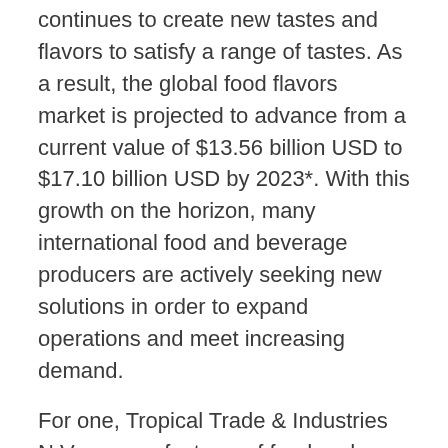continues to create new tastes and flavors to satisfy a range of tastes. As a result, the global food flavors market is projected to advance from a current value of $13.56 billion USD to $17.10 billion USD by 2023*. With this growth on the horizon, many international food and beverage producers are actively seeking new solutions in order to expand operations and meet increasing demand.
For one, Tropical Trade & Industries N.V., a manufacturer of food and pharmaceutical products based in Paramaribo, Suriname, was in need of in-house packaging capabilities to support its business plan to grow its presence in the Caribbean. The company turned to PACK EXPO Las Vegas, produced by PMMI, The Association for Packaging and Processing Technologies, in search